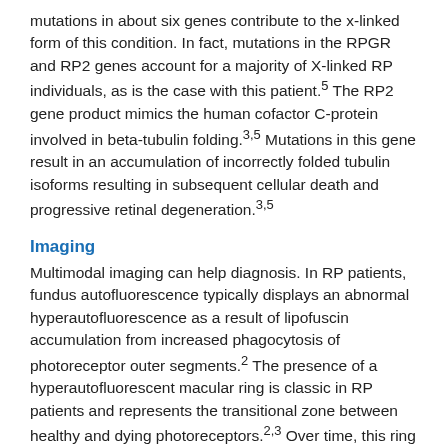mutations in about six genes contribute to the x-linked form of this condition. In fact, mutations in the RPGR and RP2 genes account for a majority of X-linked RP individuals, as is the case with this patient.5 The RP2 gene product mimics the human cofactor C-protein involved in beta-tubulin folding.3,5 Mutations in this gene result in an accumulation of incorrectly folded tubulin isoforms resulting in subsequent cellular death and progressive retinal degeneration.3,5
Imaging
Multimodal imaging can help diagnosis. In RP patients, fundus autofluorescence typically displays an abnormal hyperautofluorescence as a result of lipofuscin accumulation from increased phagocytosis of photoreceptor outer segments.2 The presence of a hyperautofluorescent macular ring is classic in RP patients and represents the transitional zone between healthy and dying photoreceptors.2,3 Over time, this ring constricts with the advancement of this disorder and can be used as an indicator of progression. OCT can also help to identify